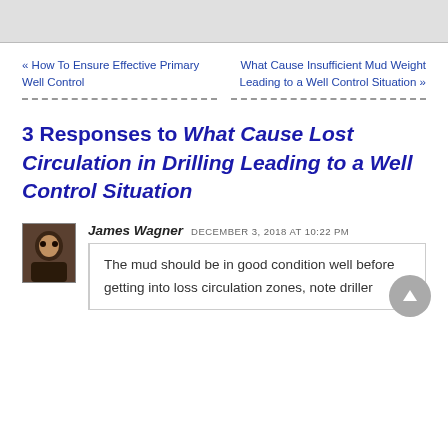« How To Ensure Effective Primary Well Control
What Cause Insufficient Mud Weight Leading to a Well Control Situation »
3 Responses to What Cause Lost Circulation in Drilling Leading to a Well Control Situation
James Wagner  DECEMBER 3, 2018 AT 10:22 PM
The mud should be in good condition well before getting into loss circulation zones, note driller